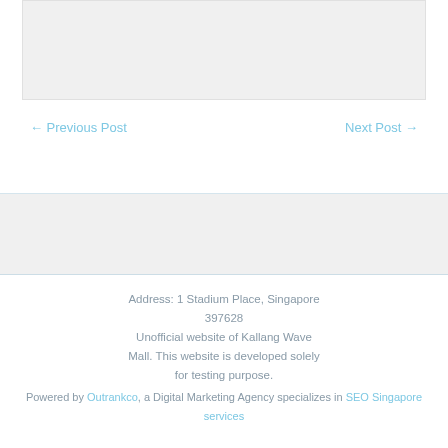[Figure (other): Gray placeholder box at top of page]
← Previous Post    Next Post →
[Figure (other): Gray shaded middle section]
Address: 1 Stadium Place, Singapore 397628
Unofficial website of  Kallang Wave Mall. This website is developed solely for testing purpose.
Powered by Outrankco, a Digital Marketing Agency specializes in SEO Singapore services